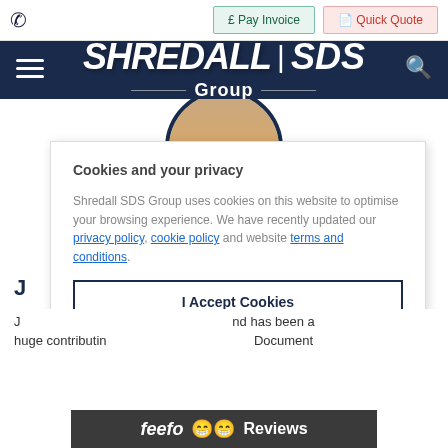[Figure (screenshot): Website screenshot of Shredall SDS Group. Top navigation bar with phone icon, Pay Invoice and Quick Quote buttons. Dark navy header with hamburger menu, Shredall SDS Group logo, and search icon. Profile photo partially visible. Cookie consent modal overlay with title 'Cookies and your privacy', body text, links to privacy policy, cookie policy, terms and conditions, and an I Accept Cookies button. Feefo Reviews bar at bottom. Partial text 'J...' and 'huge contributing ... Document' visible.]